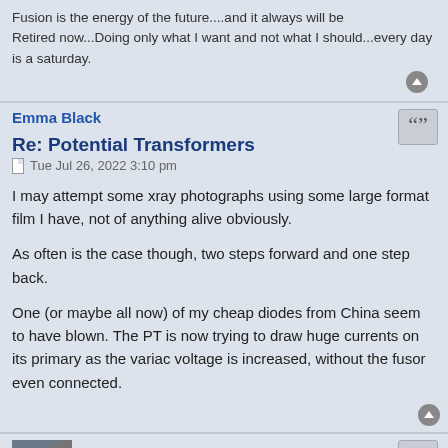Fusion is the energy of the future....and it always will be
Retired now...Doing only what I want and not what I should...every day is a saturday.
Emma Black
Re: Potential Transformers
Tue Jul 26, 2022 3:10 pm
I may attempt some xray photographs using some large format film I have, not of anything alive obviously.

As often is the case though, two steps forward and one step back.

One (or maybe all now) of my cheap diodes from China seem to have blown. The PT is now trying to draw huge currents on its primary as the variac voltage is increased, without the fusor even connected.
Dennis P Brown
Re: Potential Transformers
Tue Jul 26, 2022 3:47 pm
I lost one (pair) of my diodes in my bridge a few months back (after over